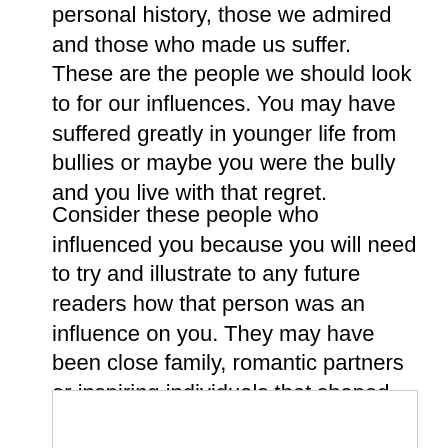personal history, those we admired and those who made us suffer. These are the people we should look to for our influences. You may have suffered greatly in younger life from bullies or maybe you were the bully and you live with that regret.
Consider these people who influenced you because you will need to try and illustrate to any future readers how that person was an influence on you. They may have been close family, romantic partners or inspiring individuals that shaped how you live your life.